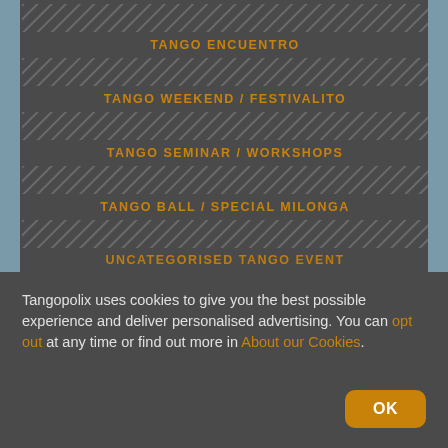TANGO ENCUENTRO
TANGO WEEKEND / FESTIVALITO
TANGO SEMINAR / WORKSHOPS
TANGO BALL / SPECIAL MILONGA
UNCATEGORISED TANGO EVENT
Tangopolix uses cookies to give you the best possible experience and deliver personalised advertising. You can opt out at any time or find out more in About our Cookies.
OK
BROWSE TANGO EVENTS BY TAG